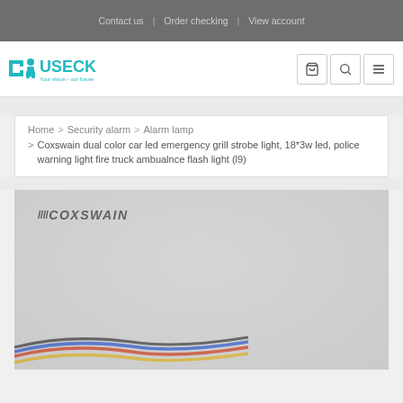Contact us  |  Order checking  |  View account
[Figure (logo): USECK logo with teal color and tagline 'Your vision - our future']
Home > Security alarm > Alarm lamp > Coxswain dual color car led emergency grill strobe light, 18*3w led, police warning light fire truck ambualnce flash light (l9)
[Figure (photo): Product photo showing a Coxswain branded emergency strobe light with colored wires visible at bottom, on a gray background]